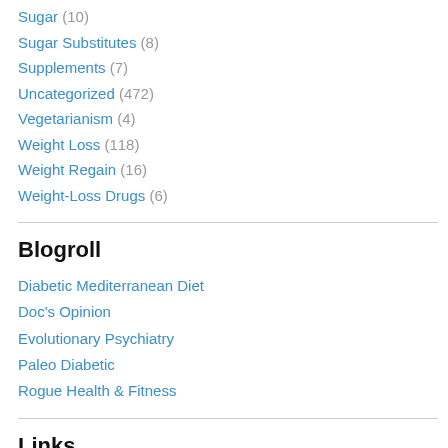Sugar (10)
Sugar Substitutes (8)
Supplements (7)
Uncategorized (472)
Vegetarianism (4)
Weight Loss (118)
Weight Regain (16)
Weight-Loss Drugs (6)
Blogroll
Diabetic Mediterranean Diet
Doc's Opinion
Evolutionary Psychiatry
Paleo Diabetic
Rogue Health & Fitness
Links